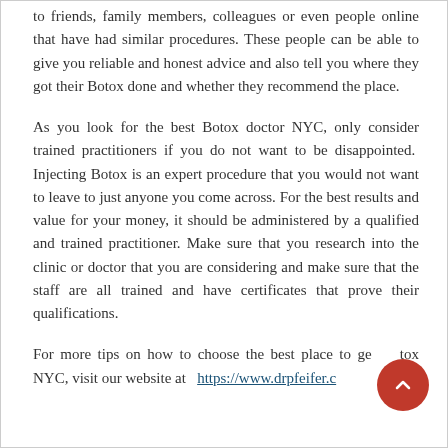to friends, family members, colleagues or even people online that have had similar procedures. These people can be able to give you reliable and honest advice and also tell you where they got their Botox done and whether they recommend the place.
As you look for the best Botox doctor NYC, only consider trained practitioners if you do not want to be disappointed. Injecting Botox is an expert procedure that you would not want to leave to just anyone you come across. For the best results and value for your money, it should be administered by a qualified and trained practitioner. Make sure that you research into the clinic or doctor that you are considering and make sure that the staff are all trained and have certificates that prove their qualifications.
For more tips on how to choose the best place to get Botox NYC, visit our website at https://www.drpfeifer.co...